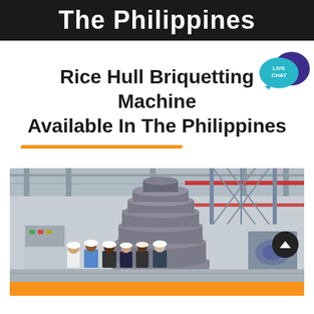The Philippines
Rice Hull Briquetting Machine Available In The Philippines
[Figure (photo): Large industrial briquetting machine in a factory setting with a group of workers in hard hats standing in front of it. The machine appears to be a tall screw-press type briquetting machine. Industrial scaffolding and equipment visible in the background.]